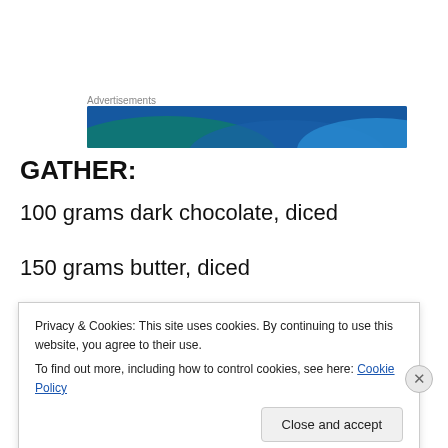[Figure (other): Advertisements banner with blue and teal wave design]
GATHER:
100 grams dark chocolate, diced
150 grams butter, diced
¾ cup caster sugar
Privacy & Cookies: This site uses cookies. By continuing to use this website, you agree to their use. To find out more, including how to control cookies, see here: Cookie Policy